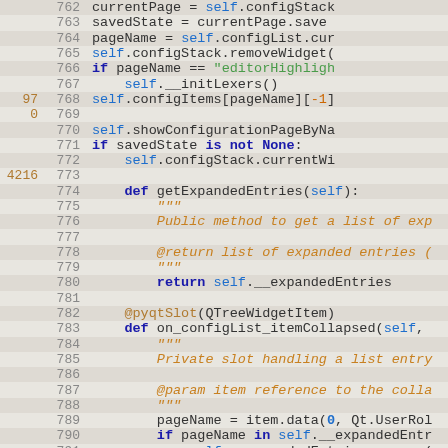[Figure (screenshot): Python source code editor showing lines 762-791 with syntax highlighting, line numbers, and coverage gutter annotations (97 on line 768, 0 on line 769, 4216 on line 773).]